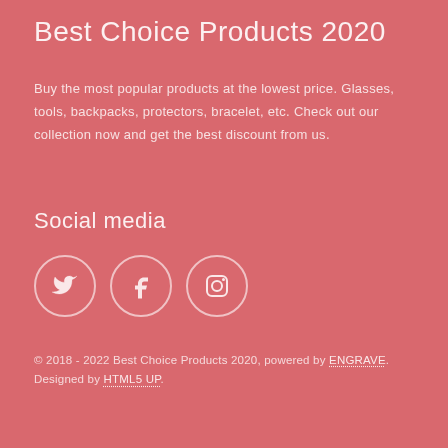Best Choice Products 2020
Buy the most popular products at the lowest price. Glasses, tools, backpacks, protectors, bracelet, etc. Check out our collection now and get the best discount from us.
Social media
[Figure (infographic): Three circular social media icons: Twitter bird icon, Facebook 'f' icon, and Instagram camera icon, each in a circle with a thin white border.]
© 2018 - 2022 Best Choice Products 2020, powered by ENGRAVE. Designed by HTML5 UP.